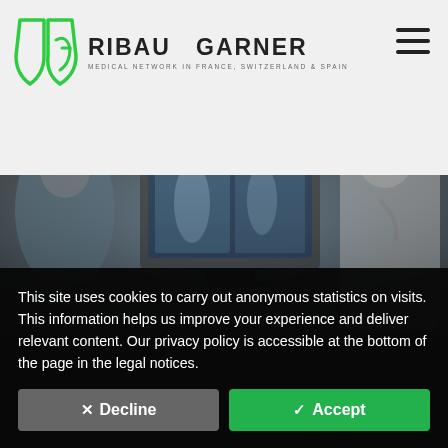[Figure (logo): Ribau Garner medical network logo — green shield icon with text 'RIBAU GARNER' and tagline 'MEDICAL NETWORK IN FRANCE, SWITZERLAND & SPAIN']
[Figure (photo): Medical professionals reviewing X-ray scans on a computer monitor in a clinical setting — darkened/blurred background photo]
This site uses cookies to carry out anonymous statistics on visits. This information helps us improve your experience and deliver relevant content. Our privacy policy is accessible at the bottom of the page in the legal notices.